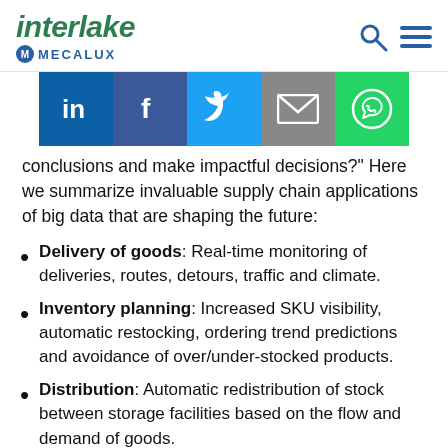Interlake Mecalux
[Figure (infographic): Social media sharing buttons: LinkedIn, Facebook, Twitter, Email, WhatsApp]
conclusions and make impactful decisions?" Here we summarize invaluable supply chain applications of big data that are shaping the future:
Delivery of goods: Real-time monitoring of deliveries, routes, detours, traffic and climate.
Inventory planning: Increased SKU visibility, automatic restocking, ordering trend predictions and avoidance of over/under-stocked products.
Distribution: Automatic redistribution of stock between storage facilities based on the flow and demand of goods.